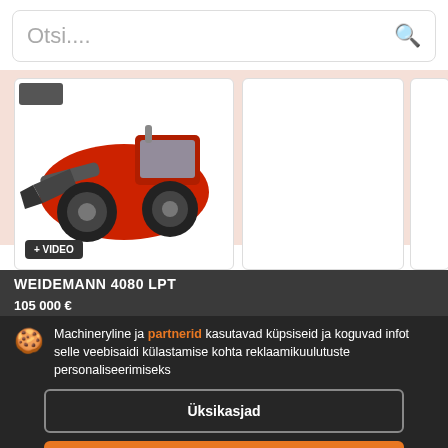Otsi....
[Figure (photo): Red Weidemann 4080 LPT wheel loader with bucket attachment, shown on white background. + VIDEO badge in lower left.]
WEIDEMANN 4080 LPT
105 000 €
Machineryline ja partnerid kasutavad küpsiseid ja koguvad infot selle veebisaidi külastamise kohta reklaamikuulutuste personaliseerimiseks
Üksikasjad
Nõustu ja sulge